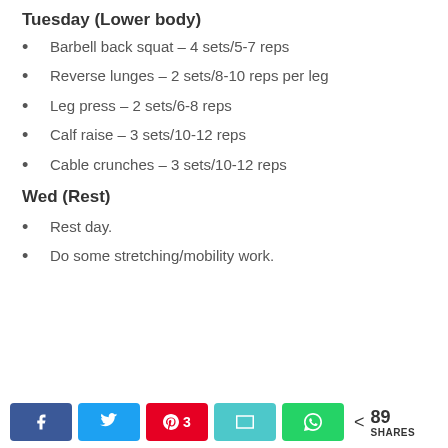Tuesday (Lower body)
Barbell back squat – 4 sets/5-7 reps
Reverse lunges – 2 sets/8-10 reps per leg
Leg press – 2 sets/6-8 reps
Calf raise – 3 sets/10-12 reps
Cable crunches – 3 sets/10-12 reps
Wed (Rest)
Rest day.
Do some stretching/mobility work.
< 89 SHARES [social share buttons: Facebook, Twitter, Pinterest 3, Email, WhatsApp]